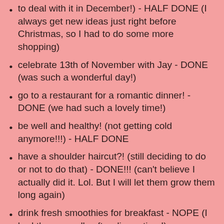to deal with it in December!) - HALF DONE (I always get new ideas just right before Christmas, so I had to do some more shopping)
celebrate 13th of November with Jay - DONE (was such a wonderful day!)
go to a restaurant for a romantic dinner! - DONE (we had such a lovely time!)
be well and healthy! (not getting cold anymore!!!) - HALF DONE
have a shoulder haircut?! (still deciding to do or not to do that) - DONE!!! (can't believe I actually did it. Lol. But I will let them grow them long again)
drink fresh smoothies for breakfast - NOPE (I had them usually after dinner time!)
have fun and my dad's 50th birthday! - DONE (it was very fun!)